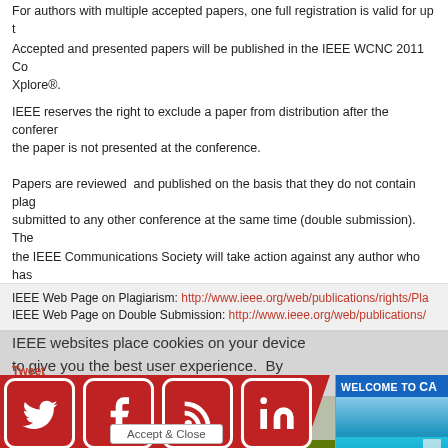For authors with multiple accepted papers, one full registration is valid for up to
Accepted and presented papers will be published in the IEEE WCNC 2011 Co Xplore®.
IEEE reserves the right to exclude a paper from distribution after the conferen the paper is not presented at the conference.
Papers are reviewed and published on the basis that they do not contain plag submitted to any other conference at the same time (double submission). The the IEEE Communications Society will take action against any author who has
IEEE Web Page on Plagiarism: http://www.ieee.org/web/publications/rights/Pla
IEEE Web Page on Double Submission: http://www.ieee.org/web/publications/
Tweet
[Figure (infographic): Cookie consent overlay with social media icons (Twitter, Facebook, RSS, LinkedIn) on a red background bar, a 'WELCOME TO CA' banner with pool image, and an Accept & Close button.]
IEEE WCNC 2011 PATRONS